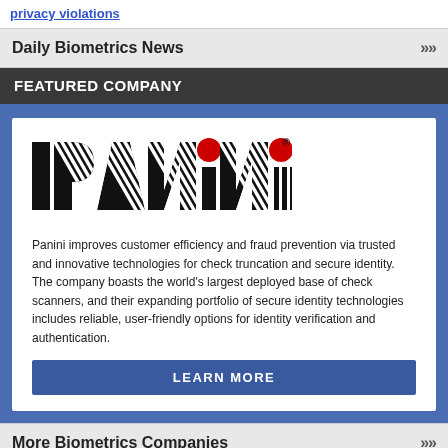privacy violations
Daily Biometrics News
FEATURED COMPANY
[Figure (logo): Panini company logo with striped lettering and two red dots]
Panini improves customer efficiency and fraud prevention via trusted and innovative technologies for check truncation and secure identity. The company boasts the world's largest deployed base of check scanners, and their expanding portfolio of secure identity technologies includes reliable, user-friendly options for identity verification and authentication.
LEARN MORE
More Biometrics Companies
BIOMETRICS RESEARCH